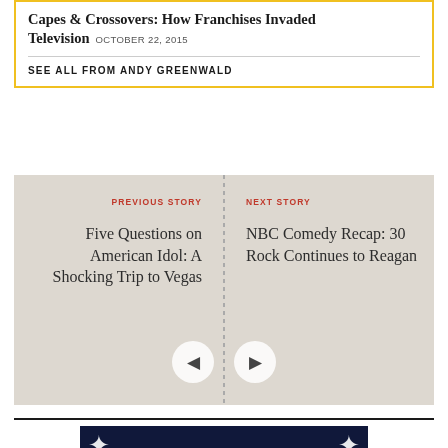Capes & Crossovers: How Franchises Invaded Television OCTOBER 22, 2015
SEE ALL FROM ANDY GREENWALD
PREVIOUS STORY
Five Questions on American Idol: A Shocking Trip to Vegas
NEXT STORY
NBC Comedy Recap: 30 Rock Continues to Reagan
[Figure (other): Grantland logo banner with sparkle/star decorations on dark blue background]